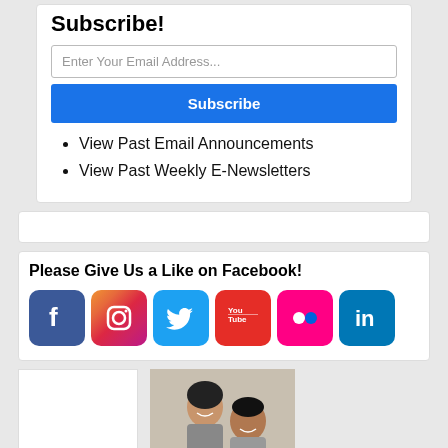Subscribe!
Enter Your Email Address...
Subscribe
View Past Email Announcements
View Past Weekly E-Newsletters
Please Give Us a Like on Facebook!
[Figure (illustration): Social media icons: Facebook, Instagram, Twitter, YouTube, Flickr, LinkedIn]
[Figure (photo): Two people smiling at a computer screen in an office setting]